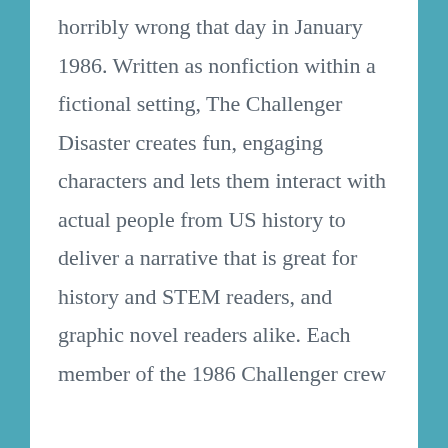horribly wrong that day in January 1986. Written as nonfiction within a fictional setting, The Challenger Disaster creates fun, engaging characters and lets them interact with actual people from US history to deliver a narrative that is great for history and STEM readers, and graphic novel readers alike. Each member of the 1986 Challenger crew